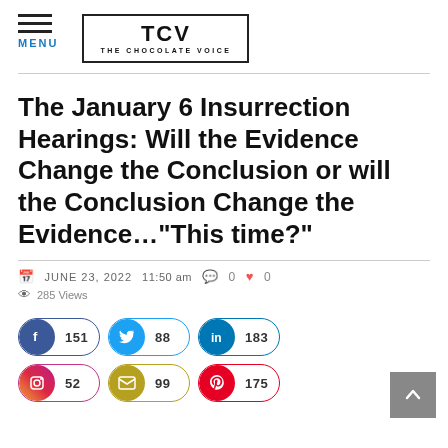MENU | TCV THE CHOCOLATE VOICE
The January 6 Insurrection Hearings: Will the Evidence Change the Conclusion or will the Conclusion Change the Evidence…"This time?"
JUNE 23, 2022  11:50 am  0  0  285 Views
[Figure (infographic): Social share buttons: Facebook 151, Twitter 88, LinkedIn 183, Instagram 52, Email 99, Pinterest 175]